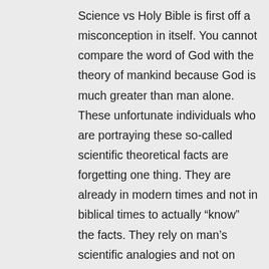Science vs Holy Bible is first off a misconception in itself. You cannot compare the word of God with the theory of mankind because God is much greater than man alone. These unfortunate individuals who are portraying these so-called scientific theoretical facts are forgetting one thing. They are already in modern times and not in biblical times to actually “know” the facts. They rely on man’s scientific analogies and not on faith in which comes from above. I see a lot of people punching their tickets to this bandwagon ride. Science is science